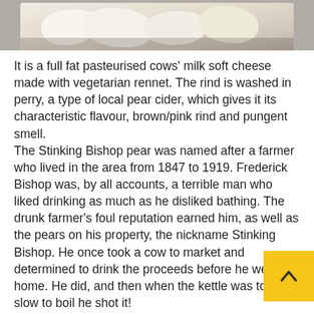[Figure (photo): Photo of soft white cheese pieces in a container, partially visible at top of page]
It is a full fat pasteurised cows' milk soft cheese made with vegetarian rennet. The rind is washed in perry, a type of local pear cider, which gives it its characteristic flavour, brown/pink rind and pungent smell.
The Stinking Bishop pear was named after a farmer who lived in the area from 1847 to 1919. Frederick Bishop was, by all accounts, a terrible man who liked drinking as much as he disliked bathing. The drunk farmer's foul reputation earned him, as well as the pears on his property, the nickname Stinking Bishop. He once took a cow to market and determined to drink the proceeds before he went home. He did, and then when the kettle was too slow to boil he shot it!
On the late 20th century the pear crossed its paths with an endangered breed of cow: in 1972, dairy farmer Charles Martell bought some of the last remaining Old Gloucestershire cows, and put them to work producing milk for cheese. After discovering that his land had once been farmed by